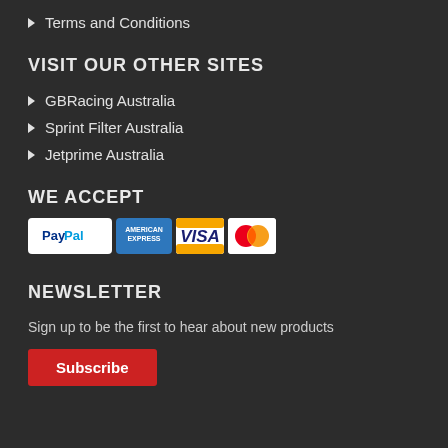Terms and Conditions
VISIT OUR OTHER SITES
GBRacing Australia
Sprint Filter Australia
Jetprime Australia
WE ACCEPT
[Figure (infographic): Payment method icons: PayPal, American Express, Visa, Mastercard]
NEWSLETTER
Sign up to be the first to hear about new products
Subscribe